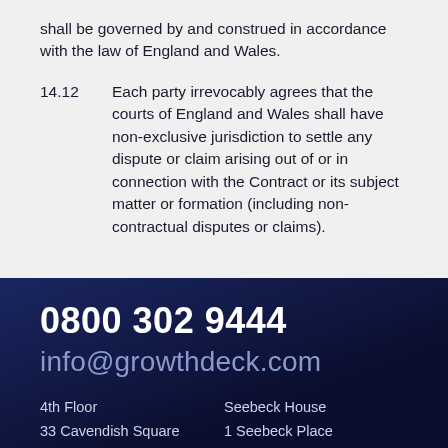shall be governed by and construed in accordance with the law of England and Wales.
14.12	Each party irrevocably agrees that the courts of England and Wales shall have non-exclusive jurisdiction to settle any dispute or claim arising out of or in connection with the Contract or its subject matter or formation (including non-contractual disputes or claims).
0800 302 9444
info@growthdeck.com
4th Floor
33 Cavendish Square
London
W1G 0PW
Seebeck House
1 Seebeck Place
Milton Keynes
MK5 8FR